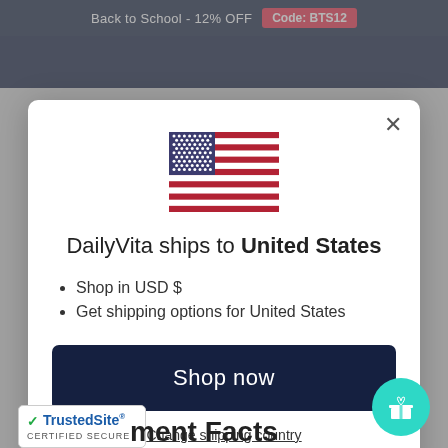Back to School - 12% OFF  Code: BTS12
[Figure (screenshot): US flag illustration used as country selector icon in modal]
DailyVita ships to United States
Shop in USD $
Get shipping options for United States
Shop now
Change shipping country
[Figure (logo): TrustedSite Certified Secure badge]
ment Facts